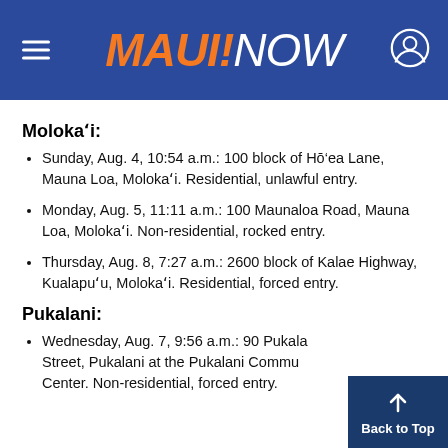[Figure (logo): Maui Now logo on blue header background with hamburger menu icon on left and user/profile icon on right]
Molokaʻi:
Sunday, Aug. 4, 10:54 a.m.: 100 block of Hō‘ea Lane, Mauna Loa, Molokaʻi. Residential, unlawful entry.
Monday, Aug. 5, 11:11 a.m.: 100 Maunaloa Road, Mauna Loa, Molokaʻi. Non-residential, rocked entry.
Thursday, Aug. 8, 7:27 a.m.: 2600 block of Kalae Highway, Kualapuʻu, Molokaʻi. Residential, forced entry.
Pukalani:
Wednesday, Aug. 7, 9:56 a.m.: 90 Pukalani Street, Pukalani at the Pukalani Community Center. Non-residential, forced entry.